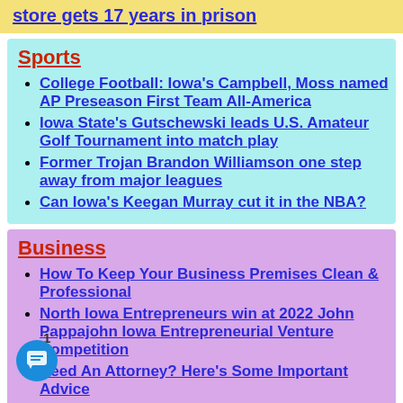store gets 17 years in prison
Sports
College Football: Iowa's Campbell, Moss named AP Preseason First Team All-America
Iowa State's Gutschewski leads U.S. Amateur Golf Tournament into match play
Former Trojan Brandon Williamson one step away from major leagues
Can Iowa's Keegan Murray cut it in the NBA?
Business
How To Keep Your Business Premises Clean & Professional
North Iowa Entrepreneurs win at 2022 John Pappajohn Iowa Entrepreneurial Venture Competition
Need An Attorney? Here's Some Important Advice